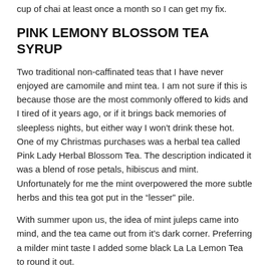cup of chai at least once a month so I can get my fix.
PINK LEMONY BLOSSOM TEA SYRUP
Two traditional non-caffinated teas that I have never enjoyed are camomile and mint tea. I am not sure if this is because those are the most commonly offered to kids and I tired of it years ago, or if it brings back memories of sleepless nights, but either way I won't drink these hot. One of my Christmas purchases was a herbal tea called Pink Lady Herbal Blossom Tea. The description indicated it was a blend of rose petals, hibiscus and mint. Unfortunately for me the mint overpowered the more subtle herbs and this tea got put in the “lesser” pile.
With summer upon us, the idea of mint juleps came into mind, and the tea came out from it’s dark corner. Preferring a milder mint taste I added some black La La Lemon Tea to round it out.
INGREDIENTS